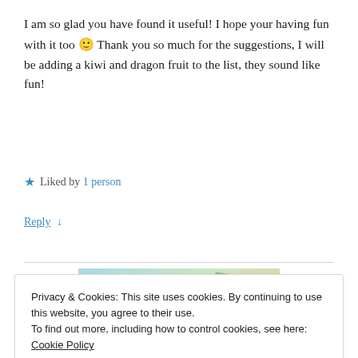I am so glad you have found it useful! I hope your having fun with it too 🙂 Thank you so much for the suggestions, I will be adding a kiwi and dragon fruit to the list, they sound like fun!
★ Liked by 1 person
Reply ↓
[Figure (photo): Advertisement banner image showing colorful wrapped packages with a 'Learn more →' button overlay]
Privacy & Cookies: This site uses cookies. By continuing to use this website, you agree to their use.
To find out more, including how to control cookies, see here: Cookie Policy

Close and accept